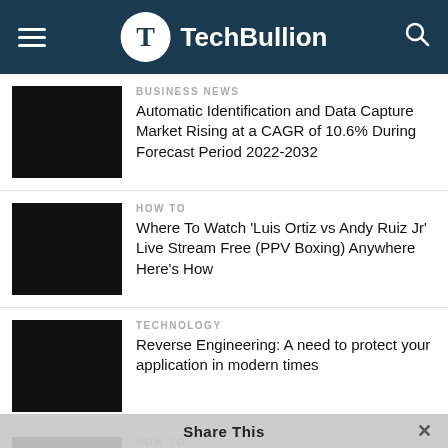TechBullion
BUSINESS NEWS
Automatic Identification and Data Capture Market Rising at a CAGR of 10.6% During Forecast Period 2022-2032
HOW TO
Where To Watch ‘Luis Ortiz vs Andy Ruiz Jr’ Live Stream Free (PPV Boxing) Anywhere Here’s How
TECHNOLOGY
Reverse Engineering: A need to protect your application in modern times
HOW TO
Where To Watch ‘Hafter Ever Happy’ (Free) Online Streaming at Home
Share This